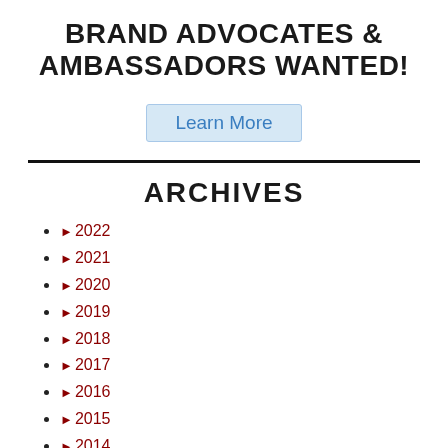BRAND ADVOCATES & AMBASSADORS WANTED!
Learn More
ARCHIVES
► 2022
► 2021
► 2020
► 2019
► 2018
► 2017
► 2016
► 2015
► 2014
► 2013
► 2012
► 2011